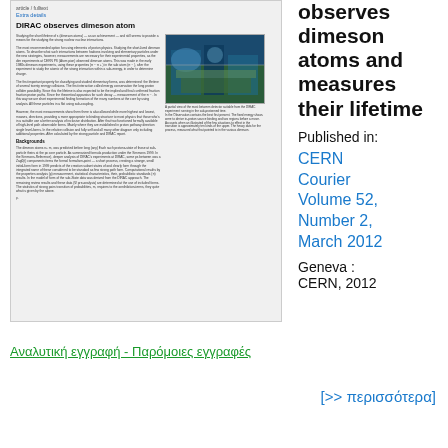[Figure (screenshot): Thumbnail of a journal article page titled 'DIRAC observes dimeson atoms' with body text, a photo of experimental apparatus, and a figure caption.]
observes dimeson atoms and measures their lifetime
Published in:
CERN Courier Volume 52, Number 2, March 2012
Geneva : CERN, 2012
Αναλυτική εγγραφή - Παρόμοιες εγγραφές
[>> περισσότερα]